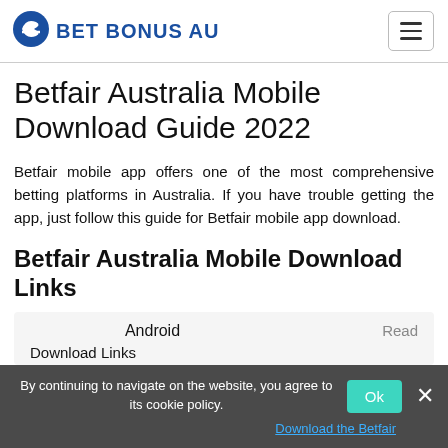BET BONUS AU
Betfair Australia Mobile Download Guide 2022
Betfair mobile app offers one of the most comprehensive betting platforms in Australia. If you have trouble getting the app, just follow this guide for Betfair mobile app download.
Betfair Australia Mobile Download Links
| Android | Read more |
| --- | --- |
| Download Links | Download the Betfair |
By continuing to navigate on the website, you agree to its cookie policy.